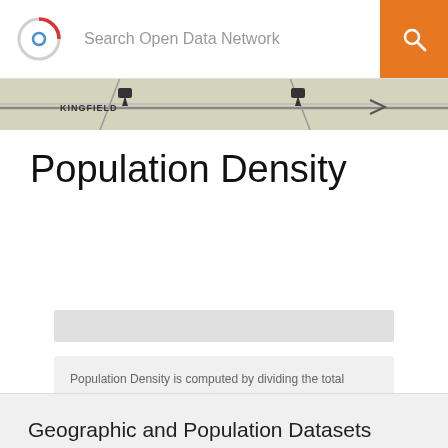Search Open Data Network
[Figure (map): Map strip showing location labels KINGFIELD and BOWLING GREEN]
Population Density
Population Density is computed by dividing the total population by Land Area Per Square Mile.

Above charts are based on data from the U.S. Census American Community Survey | ODN Dataset | API -
Geographic and Population Datasets